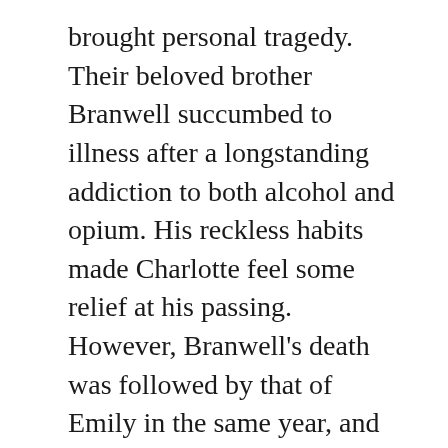brought personal tragedy. Their beloved brother Branwell succumbed to illness after a longstanding addiction to both alcohol and opium. His reckless habits made Charlotte feel some relief at his passing. However, Branwell's death was followed by that of Emily in the same year, and Ann the year after.